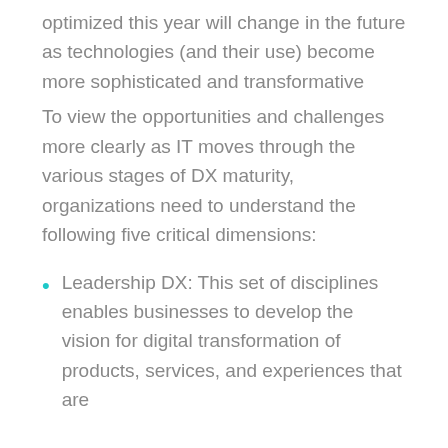optimized this year will change in the future as technologies (and their use) become more sophisticated and transformative
To view the opportunities and challenges more clearly as IT moves through the various stages of DX maturity, organizations need to understand the following five critical dimensions:
Leadership DX: This set of disciplines enables businesses to develop the vision for digital transformation of products, services, and experiences that are